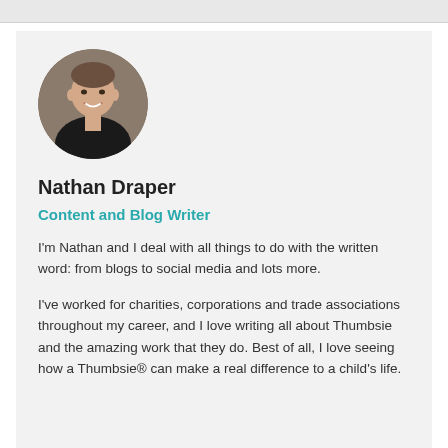[Figure (photo): Circular headshot photo of Nathan Draper, a smiling man with short hair wearing a dark top, against a neutral background.]
Nathan Draper
Content and Blog Writer
I'm Nathan and I deal with all things to do with the written word: from blogs to social media and lots more.
I've worked for charities, corporations and trade associations throughout my career, and I love writing all about Thumbsie and the amazing work that they do. Best of all, I love seeing how a Thumbsie® can make a real difference to a child's life.